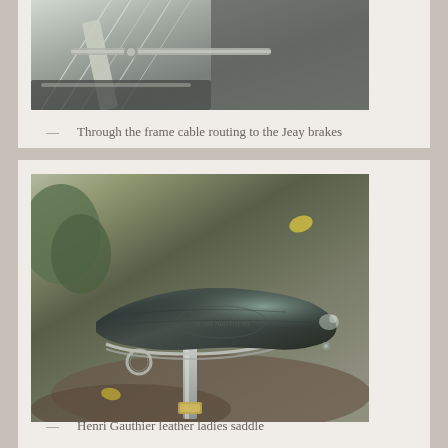[Figure (photo): Close-up photograph of bicycle frame cable routing to Jeay brakes, showing spokes, cable guides, and mechanical components in silver/chrome tones.]
— Through the frame cable routing to the Jeay brakes
[Figure (photo): Photograph of a Henri Gauthier leather ladies saddle on a bicycle, showing a dark green/black leather saddle with embossed text, chrome rails, and seatpost, set against a garden background.]
— Henri Gauthier leather ladies saddle